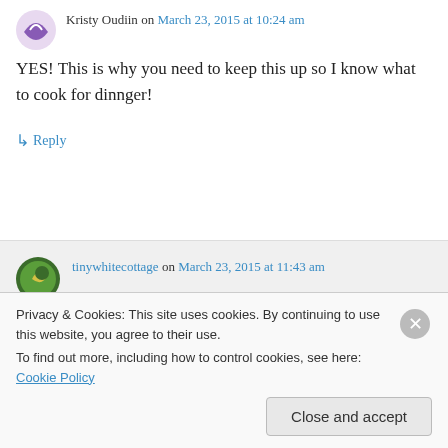[Figure (illustration): Purple avatar icon for Kristy Oudiin, partially cropped at top-left]
Kristy Oudiin on March 23, 2015 at 10:24 am
YES! This is why you need to keep this up so I know what to cook for dinnger!
↳ Reply
[Figure (illustration): Round avatar icon for tinywhitecottage with a moon/crescent design on dark green background]
tinywhitecottage on March 23, 2015 at 11:43 am
This is a good one Kristy! So easy too. Still thinking about that guacamole and those
Privacy & Cookies: This site uses cookies. By continuing to use this website, you agree to their use.
To find out more, including how to control cookies, see here: Cookie Policy
Close and accept